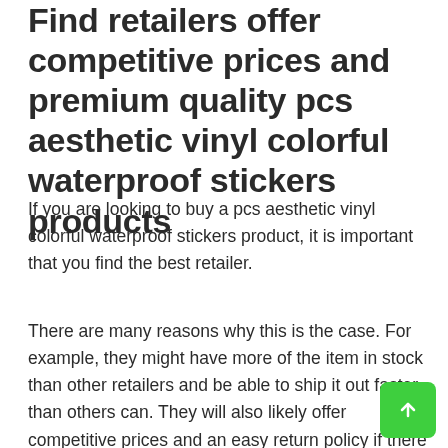Find retailers offer competitive prices and premium quality pcs aesthetic vinyl colorful waterproof stickers products
If you are looking to buy a pcs aesthetic vinyl colorful waterproof stickers product, it is important that you find the best retailer.
There are many reasons why this is the case. For example, they might have more of the item in stock than other retailers and be able to ship it out faster than others can. They will also likely offer competitive prices and an easy return policy if there is some s… issue with your purchase.